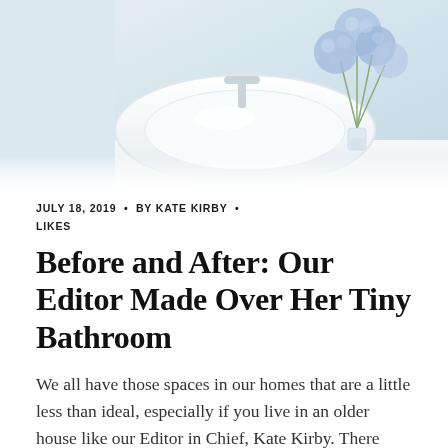[Figure (photo): Top portion of a bathroom photo showing a white sink/basin and blue hydrangea flowers in a vase on a white surface, soft light airy aesthetic]
JULY 18, 2019 • BY KATE KIRBY • LIKES
Before and After: Our Editor Made Over Her Tiny Bathroom
We all have those spaces in our homes that are a little less than ideal, especially if you live in an older house like our Editor in Chief, Kate Kirby. There may even be appliances that look